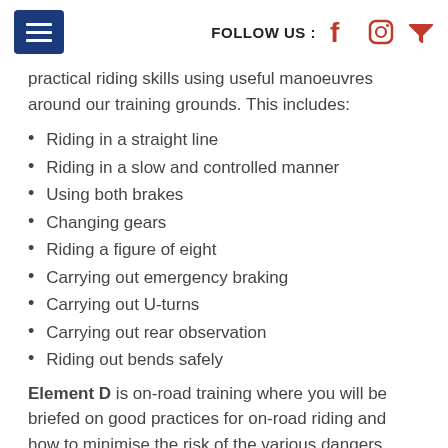FOLLOW US : [facebook] [instagram] [twitter]
practical riding skills using useful manoeuvres around our training grounds. This includes:
Riding in a straight line
Riding in a slow and controlled manner
Using both brakes
Changing gears
Riding a figure of eight
Carrying out emergency braking
Carrying out U-turns
Carrying out rear observation
Riding out bends safely
Element D is on-road training where you will be briefed on good practices for on-road riding and how to minimise the risk of the various dangers facing learner riders. This